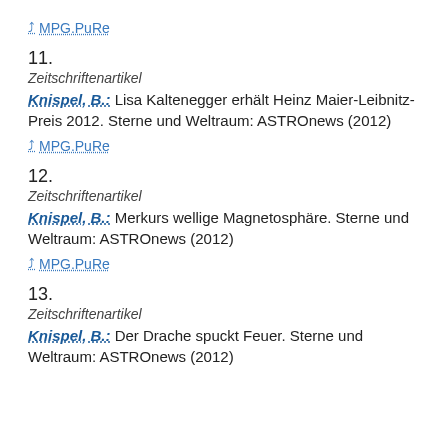MPG.PuRe (link)
11.
Zeitschriftenartikel
Knispel, B.: Lisa Kaltenegger erhält Heinz Maier-Leibnitz-Preis 2012. Sterne und Weltraum: ASTROnews (2012)
MPG.PuRe (link)
12.
Zeitschriftenartikel
Knispel, B.: Merkurs wellige Magnetosphäre. Sterne und Weltraum: ASTROnews (2012)
MPG.PuRe (link)
13.
Zeitschriftenartikel
Knispel, B.: Der Drache spuckt Feuer. Sterne und Weltraum: ASTROnews (2012)